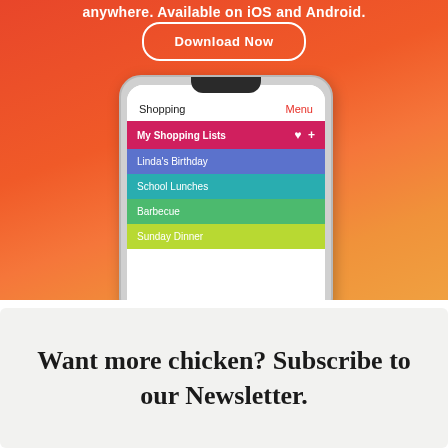anywhere. Available on iOS and Android.
[Figure (screenshot): Download Now button with rounded rectangle border on orange-red gradient background, and a smartphone screenshot showing a shopping list app with lists: My Shopping Lists, Linda's Birthday, School Lunches, Barbecue, Sunday Dinner]
Want more chicken? Subscribe to our Newsletter.